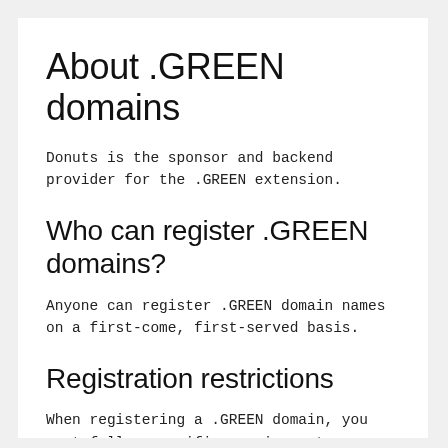About .GREEN domains
Donuts is the sponsor and backend provider for the .GREEN extension.
Who can register .GREEN domains?
Anyone can register .GREEN domain names on a first-come, first-served basis.
Registration restrictions
When registering a .GREEN domain, you must follow specific requirements.